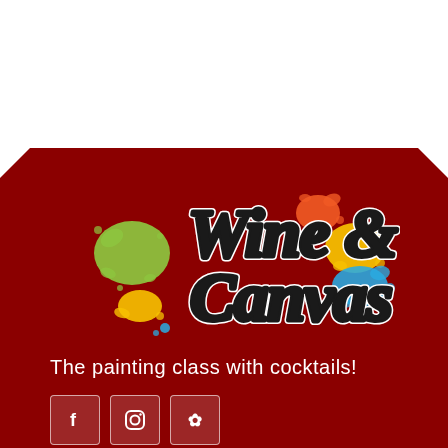[Figure (logo): Wine & Canvas logo with colorful paint splatter spots (green, yellow, orange, blue) on a dark red background, with bold black and white script/serif text reading 'Wine & Canvas']
The painting class with cocktails!
[Figure (infographic): Three social media icon buttons: Facebook (f), Instagram (camera), and Yelp (flower/burst) — white icons on semi-transparent rounded square backgrounds]